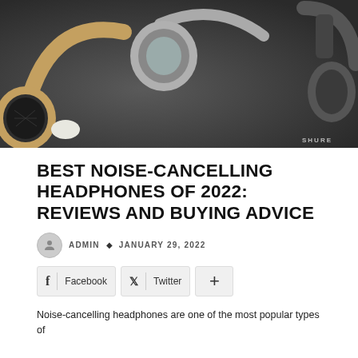[Figure (photo): Close-up photo of multiple premium over-ear headphones on a dark background, including a gold/tan pair on the left and silver/gray headphones on the right with a SHURE logo visible.]
BEST NOISE-CANCELLING HEADPHONES OF 2022: REVIEWS AND BUYING ADVICE
ADMIN ◆ JANUARY 29, 2022
Facebook   Twitter   +
Noise-cancelling headphones are one of the most popular types of